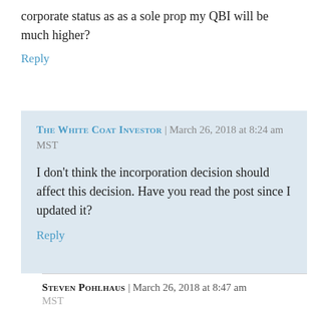corporate status as as a sole prop my QBI will be much higher?
Reply
THE WHITE COAT INVESTOR | March 26, 2018 at 8:24 am MST
I don’t think the incorporation decision should affect this decision. Have you read the post since I updated it?
Reply
STEVEN POHLHAUS | March 26, 2018 at 8:47 am MST